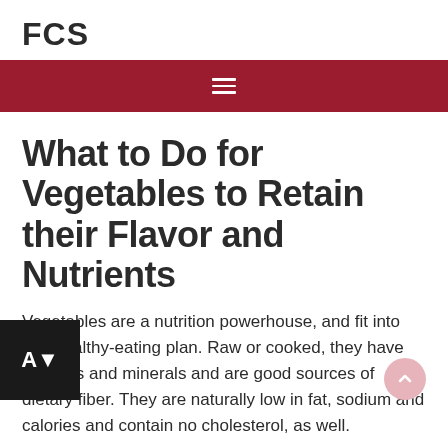FCS
What to Do for Vegetables to Retain their Flavor and Nutrients
Vegetables are a nutrition powerhouse, and fit into any healthy-eating plan. Raw or cooked, they have vitamins and minerals and are good sources of dietary fiber. They are naturally low in fat, sodium and calories and contain no cholesterol, as well.
TEXARKANA, Ark. –